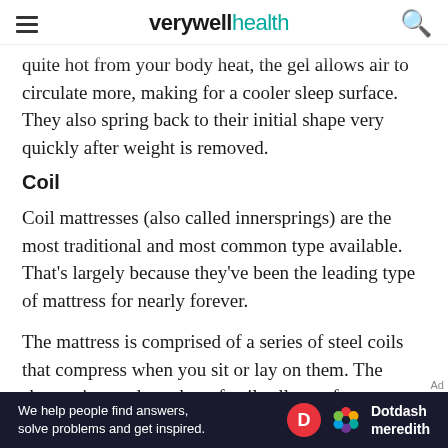verywell health
quite hot from your body heat, the gel allows air to circulate more, making for a cooler sleep surface. They also spring back to their initial shape very quickly after weight is removed.
Coil
Coil mattresses (also called innersprings) are the most traditional and most common type available. That's largely because they've been the leading type of mattress for nearly forever.
The mattress is comprised of a series of steel coils that compress when you sit or lay on them. The shape, size, and number of coils all vary from
[Figure (infographic): Dotdash Meredith advertisement banner: 'We help people find answers, solve problems and get inspired.' with Dotdash Meredith logo]